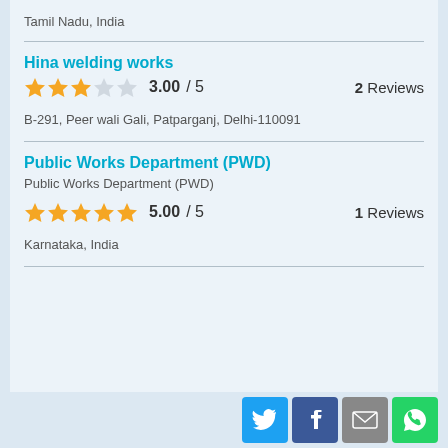Tamil Nadu, India
Hina welding works
3.00 / 5   2 Reviews
B-291, Peer wali Gali, Patparganj, Delhi-110091
Public Works Department (PWD)
Public Works Department (PWD)
5.00 / 5   1 Reviews
Karnataka, India